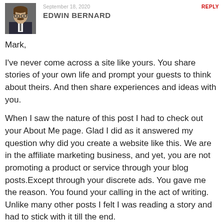[Figure (photo): Small square avatar photo of Edwin Bernard, a man with glasses and a mustache wearing a suit]
September 18, 2020  REPLY
EDWIN BERNARD
Mark,
I've never come across a site like yours. You share stories of your own life and prompt your guests to think about theirs. And then share experiences and ideas with you.
When I saw the nature of this post I had to check out your About Me page. Glad I did as it answered my question why did you create a website like this. We are in the affiliate marketing business, and yet, you are not promoting a product or service through your blog posts.Except through your discrete ads. You gave me the reason. You found your calling in the act of writing. Unlike many other posts I felt I was reading a story and had to stick with it till the end.
Let's get to the point. What is my meaning and purpose in life. I retired from my profession many years ago and currently enjoying my retirement. To me retirement doesn't mean laying back and letting life take its course.